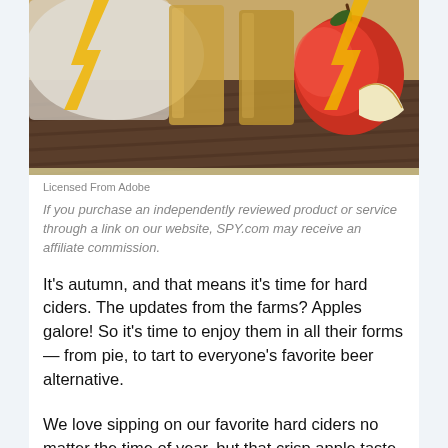[Figure (photo): Photo of hard cider in glass mugs with apples on a wooden surface, with decorative yellow lightning bolt overlays on the sides]
Licensed From Adobe
If you purchase an independently reviewed product or service through a link on our website, SPY.com may receive an affiliate commission.
It's autumn, and that means it's time for hard ciders. The updates from the farms? Apples galore! So it's time to enjoy them in all their forms — from pie, to tart to everyone's favorite beer alternative.
We love sipping on our favorite hard ciders no matter the time of year, but that crisp apple taste really hits different on a crisp fall day when the leaves are changing. Yeah, the flavor totally brings us full throttle into fall-mode, and we're here for it.
Whether beer's your gig or you're a ride or die-hard